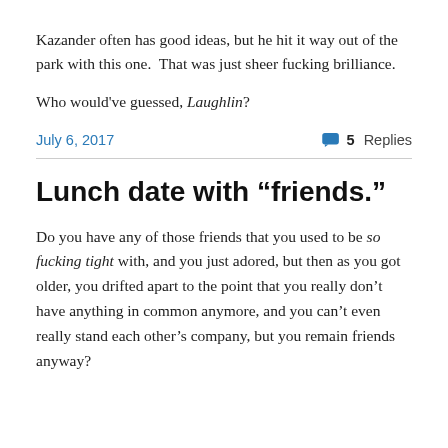Kazander often has good ideas, but he hit it way out of the park with this one.  That was just sheer fucking brilliance.
Who would've guessed, Laughlin?
July 6, 2017   💬 5 Replies
Lunch date with “friends.”
Do you have any of those friends that you used to be so fucking tight with, and you just adored, but then as you got older, you drifted apart to the point that you really don’t have anything in common anymore, and you can’t even really stand each other’s company, but you remain friends anyway?